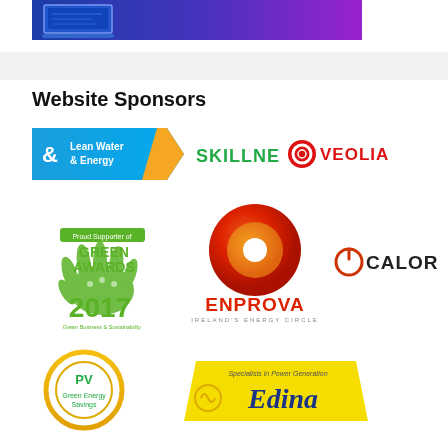[Figure (photo): Blue and purple gradient banner with screen/laptop graphic]
Website Sponsors
[Figure (logo): Lean Water & Energy Skillnet logo (blue and orange banner shape)]
[Figure (logo): SKILLNET text logo in green]
[Figure (logo): VEOLIA logo with red circle icon]
[Figure (logo): Green Awards 2017 - Proud Supporter of Green Awards, Green Business & Sustainability]
[Figure (logo): ENPROVA - Ireland's Energy Circle logo with red/orange sphere]
[Figure (logo): CALOR logo with power symbol icon]
[Figure (logo): PV Green Energy Savings circular logo]
[Figure (logo): Edina - Specialists in Power Generation logo]